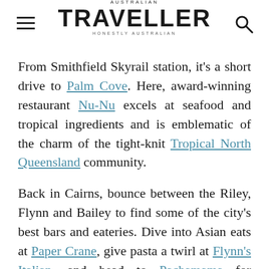AUSTRALIAN TRAVELLER — HONESTLY AUSTRALIAN
From Smithfield Skyrail station, it's a short drive to Palm Cove. Here, award-winning restaurant Nu-Nu excels at seafood and tropical ingredients and is emblematic of the charm of the tight-knit Tropical North Queensland community.
Back in Cairns, bounce between the Riley, Flynn and Bailey to find some of the city's best bars and eateries. Dive into Asian eats at Paper Crane, give pasta a twirl at Flynn's Italian, and head to Pachamama for authentic Latin share plates. Find more eateries scattered along…